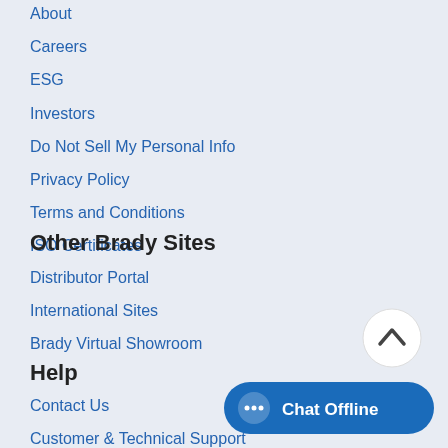About
Careers
ESG
Investors
Do Not Sell My Personal Info
Privacy Policy
Terms and Conditions
ISO Certificates
Other Brady Sites
Distributor Portal
International Sites
Brady Virtual Showroom
[Figure (other): Scroll to top button - circle with upward chevron arrow]
Help
Contact Us
Customer & Technical Support
[Figure (other): Chat Offline button with speech bubble icon]